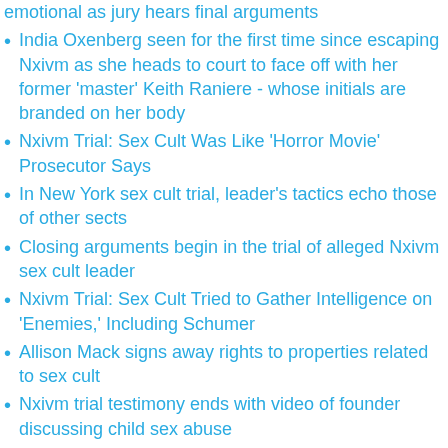emotional as jury hears final arguments
India Oxenberg seen for the first time since escaping Nxivm as she heads to court to face off with her former 'master' Keith Raniere - whose initials are branded on her body
Nxivm Trial: Sex Cult Was Like 'Horror Movie' Prosecutor Says
In New York sex cult trial, leader's tactics echo those of other sects
Closing arguments begin in the trial of alleged Nxivm sex cult leader
Nxivm Trial: Sex Cult Tried to Gather Intelligence on 'Enemies,' Including Schumer
Allison Mack signs away rights to properties related to sex cult
Nxivm trial testimony ends with video of founder discussing child sex abuse
NXIVM leader claimed some